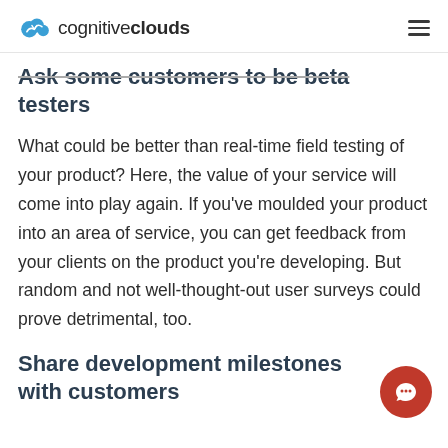cognitiveclouds
Ask some customers to be beta testers
What could be better than real-time field testing of your product? Here, the value of your service will come into play again. If you've moulded your product into an area of service, you can get feedback from your clients on the product you're developing. But random and not well-thought-out user surveys could prove detrimental, too.
Share development milestones with customers